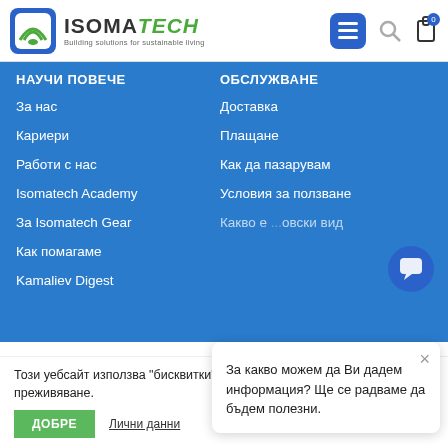[Figure (logo): Isomatech logo with green icon and tagline 'Building solutions for sustainable living']
НАУЧИ ПОВЕЧЕ
ОБСЛУЖВАНЕ
За нас
Доставка
Кариери
Плащане
Работи с нас
Как да пазарувам
Isomatech Academy
Условия за ползване
За Isomatech Gear
Какво е ... овски вид
Как помагаме
Kamaliev Digest
За какво можем да Ви дадем информация? Ще се радваме да бъдем полезни.
Този уебсайт използва "бисквитки", за да подобри потребителското Ви преживяване.
ДОБРЕ
Лични данни